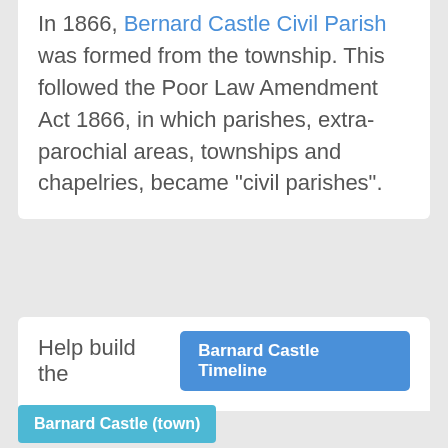In 1866, Bernard Castle Civil Parish was formed from the township. This followed the Poor Law Amendment Act 1866, in which parishes, extra-parochial areas, townships and chapelries, became "civil parishes".
Help build the Barnard Castle Timeline
Barnard Castle (town)
Barnard Castle Civil Parish (Town Council)
Gainford Parish, 1848